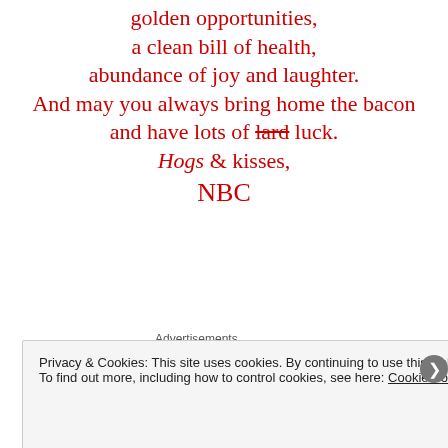May this new year brings you golden opportunities, a clean bill of health, abundance of joy and laughter. And may you always bring home the bacon and have lots of lard luck. Hogs & kisses, NBC
Advertisements
Privacy & Cookies: This site uses cookies. By continuing to use this website, you agree to their use. To find out more, including how to control cookies, see here: Cookie Policy
Close and accept